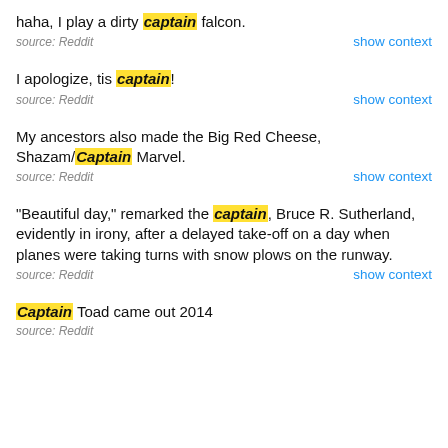haha, I play a dirty captain falcon.
source: Reddit
I apologize, tis captain!
source: Reddit
My ancestors also made the Big Red Cheese, Shazam/Captain Marvel.
source: Reddit
"Beautiful day," remarked the captain, Bruce R. Sutherland, evidently in irony, after a delayed take-off on a day when planes were taking turns with snow plows on the runway.
source: Reddit
Captain Toad came out 2014
source: Reddit